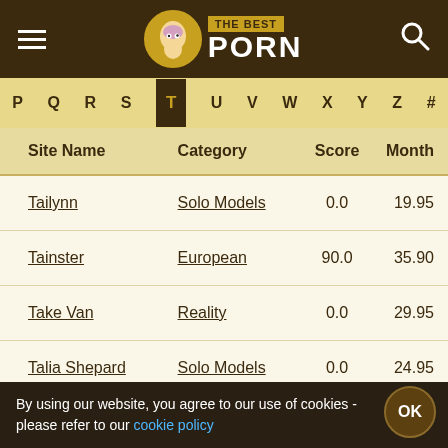THE BEST PORN
P Q R S T U V W X Y Z #
| Site Name | Category | Score | Month |
| --- | --- | --- | --- |
| Tailynn | Solo Models | 0.0 | 19.95 |
| Tainster | European | 90.0 | 35.90 |
| Take Van | Reality | 0.0 | 29.95 |
| Talia Shepard | Solo Models | 0.0 | 24.95 |
| Tamed Teens | Young Adults | 79.0 | 29.95 |
By using our website, you agree to our use of cookies - please refer to our cookie policy